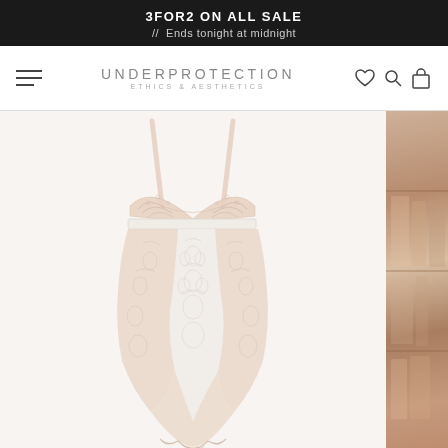3FOR2 on all SALE // Ends tonight at midnight
[Figure (screenshot): Underprotection website navigation bar with hamburger menu, brand logo 'UNDERPROTECTION ETHICS & AESTHETICS', and icons for wishlist (heart), search (magnifying glass), and shopping bag]
[Figure (photo): White/nude lace bodysuit with thin shoulder straps, deep V-neckline, lace panels throughout, and a white elastic band at the underbust. Displayed against a white/light grey background. A partially visible second lifestyle image appears on the right edge.]